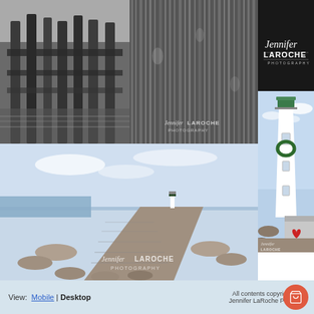[Figure (photo): Black and white photo of pier pilings reflected in still water underneath a boardwalk]
[Figure (photo): Black and white photo of sparkle/rain-like streaks on trees or foliage, with Jennifer LaRoche Photography watermark]
[Figure (logo): Jennifer LaRoche Photography logo on dark background with cursive and bold text]
[Figure (photo): Large color photo of a white lighthouse tower with green Christmas wreath, against blue sky, with a red heart painted on a small building below; Jennifer LaRoche Photography watermark]
[Figure (photo): Color photo of a stone causeway/jetty leading to a white lighthouse in the distance, with blue sky and water; Jennifer LaRoche Photography watermark]
View:  Mobile | Desktop
All contents copyright ©2014 Jennifer LaRoche Photography